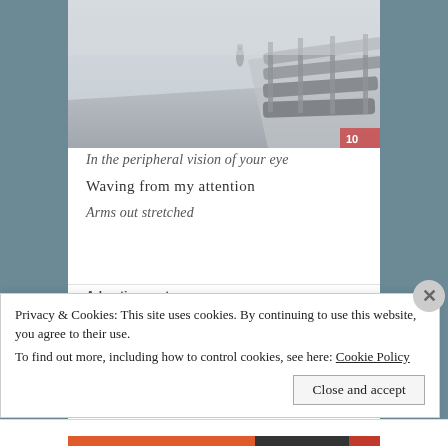[Figure (photo): A foggy road scene with guardrails on the right side and a faint human silhouette visible in the misty distance. The image is grey and atmospheric.]
In the peripheral vision of your eye
Waving from my attention
Arms out stretched
Advertisements
Privacy & Cookies: This site uses cookies. By continuing to use this website, you agree to their use.
To find out more, including how to control cookies, see here: Cookie Policy
Close and accept